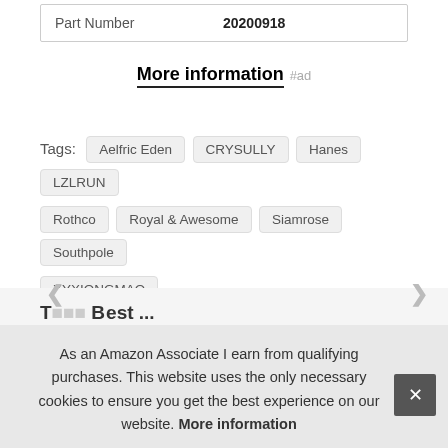| Part Number | 20200918 |
More information #ad
Tags: Aelfric Eden CRYSULLY Hanes LZLRUN Rothco Royal & Awesome Siamrose Southpole XYXIONGMAO
As an Amazon Associate I earn from qualifying purchases. This website uses the only necessary cookies to ensure you get the best experience on our website. More information